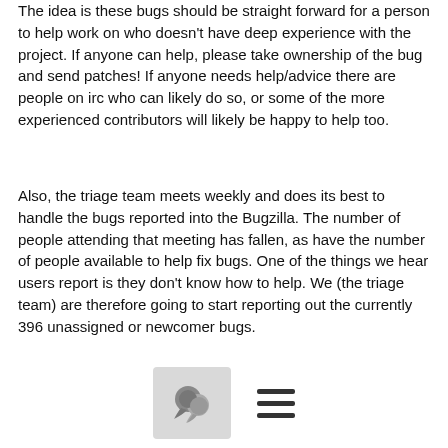The idea is these bugs should be straight forward for a person to help work on who doesn't have deep experience with the project. If anyone can help, please take ownership of the bug and send patches!  If anyone needs help/advice there are people on irc who can likely do so, or some of the more experienced contributors will likely be happy to help too.
Also, the triage team meets weekly and does its best to handle the bugs reported into the Bugzilla. The number of people attending that meeting has fallen, as have the number of people available to help fix bugs. One of the things we hear users report is they don't know how to help. We (the triage team) are therefore going to start reporting out the currently 396 unassigned or newcomer bugs.
We're hoping people may be able to spare some time now and again to help out with these.  Bugs are split into two types, "true bugs" where things don't work as they should and "enhancements" which are features we'd want to add to the
[Figure (other): Bottom navigation bar with a chat bubble icon in a grey box and a hamburger menu icon]